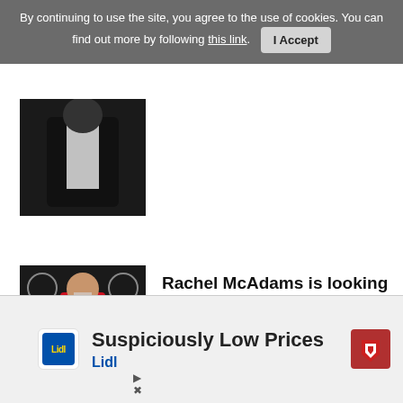By continuing to use the site, you agree to the use of cookies. You can find out more by following this link. I Accept
[Figure (photo): Person in dark jacket, partial view]
[Figure (photo): Rachel McAdams in red suit at ESPYS event]
Rachel McAdams is looking for a flexible man
[Figure (photo): Woman with blonde hair, partial view]
Rachel Mcadams
[Figure (advertisement): Lidl advertisement: Suspiciously Low Prices]